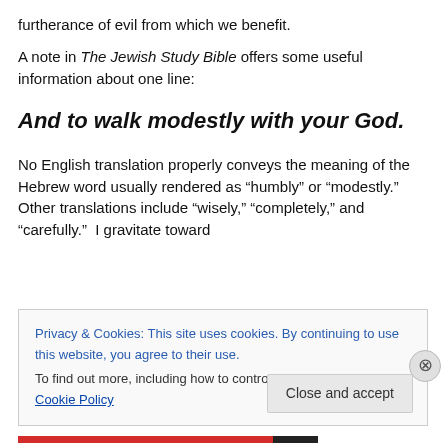furtherance of evil from which we benefit.
A note in The Jewish Study Bible offers some useful information about one line:
And to walk modestly with your God.
No English translation properly conveys the meaning of the Hebrew word usually rendered as “humbly” or “modestly.”  Other translations include “wisely,” “completely,” and “carefully.”  I gravitate toward
Privacy & Cookies: This site uses cookies. By continuing to use this website, you agree to their use.
To find out more, including how to control cookies, see here: Cookie Policy
Close and accept